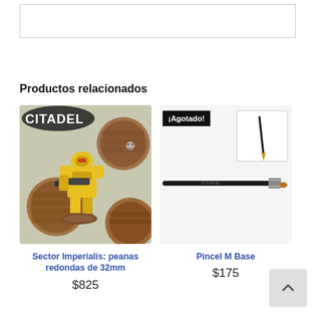Productos relacionados
[Figure (photo): Citadel Sector Imperialis 32mm round bases product image showing a yellow Space Marine miniature and textured round bases]
Sector Imperialis: peanas redondas de 32mm
$825
[Figure (photo): Pincel M Base paint brush product image showing a thin black-handled brush, with an '¡Agotado!' (Out of stock) badge]
Pincel M Base
$175